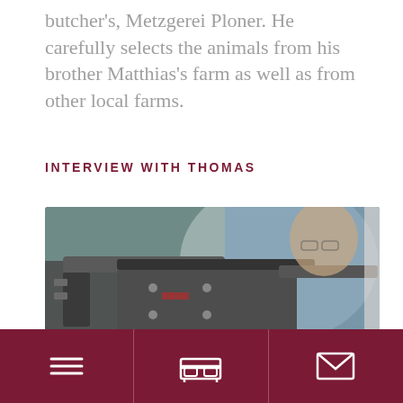butcher's, Metzgerei Ploner. He carefully selects the animals from his brother Matthias's farm as well as from other local farms.
INTERVIEW WITH THOMAS
[Figure (photo): A man in a light blue coat and red apron looks down at a metal butchery machine in the foreground, with blurred background.]
Navigation bar with menu, bed/room booking, and envelope/contact icons